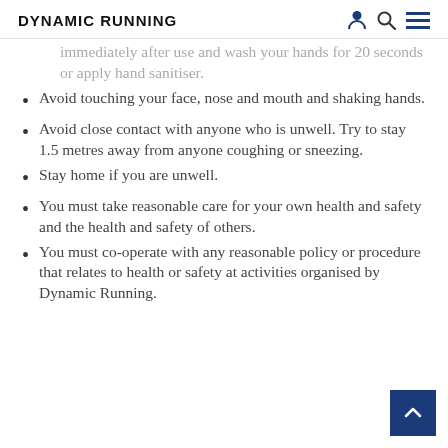DYNAMIC RUNNING
Immediately after use and wash your hands for 20 seconds or apply hand sanitiser.
Avoid touching your face, nose and mouth and shaking hands.
Avoid close contact with anyone who is unwell. Try to stay 1.5 metres away from anyone coughing or sneezing.
Stay home if you are unwell.
You must take reasonable care for your own health and safety and the health and safety of others.
You must co-operate with any reasonable policy or procedure that relates to health or safety at activities organised by Dynamic Running.